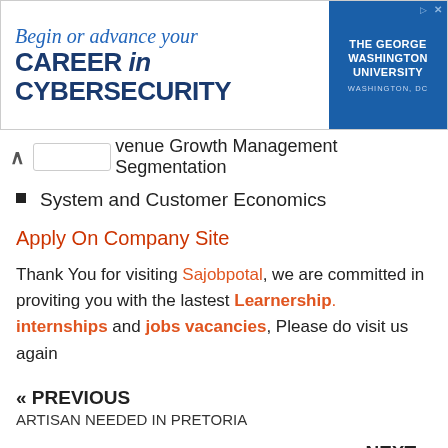[Figure (other): Advertisement banner for The George Washington University Cybersecurity program with text 'Begin or advance your CAREER in CYBERSECURITY' and university logo on blue background with 'WASHINGTON, DC']
venue Growth Management Segmentation
System and Customer Economics
Apply On Company Site
Thank You for visiting Sajobpotal, we are committed in proviting you with the lastest Learnership. internships and jobs vacancies, Please do visit us again
« PREVIOUS
ARTISAN NEEDED IN PRETORIA
NEXT »
HomeChoice Finance Assistance needed